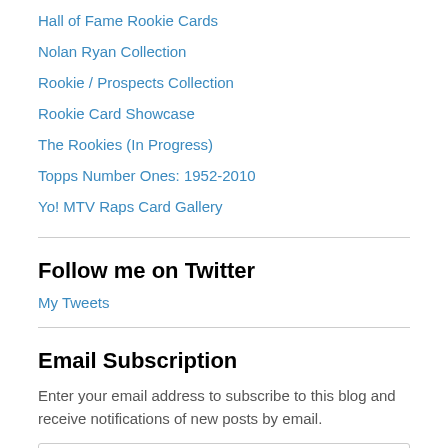Hall of Fame Rookie Cards
Nolan Ryan Collection
Rookie / Prospects Collection
Rookie Card Showcase
The Rookies (In Progress)
Topps Number Ones: 1952-2010
Yo! MTV Raps Card Gallery
Follow me on Twitter
My Tweets
Email Subscription
Enter your email address to subscribe to this blog and receive notifications of new posts by email.
Enter your email address